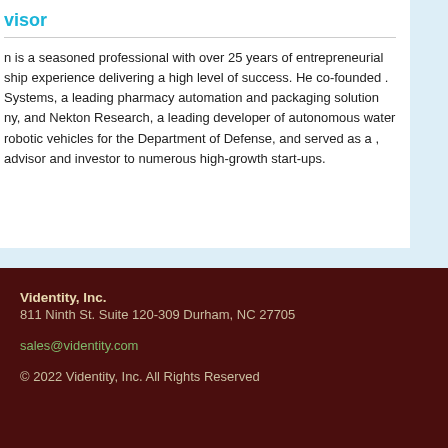visor
n is a seasoned professional with over 25 years of entrepreneurial ship experience delivering a high level of success. He co-founded . Systems, a leading pharmacy automation and packaging solution ny, and Nekton Research, a leading developer of autonomous water robotic vehicles for the Department of Defense, and served as a , advisor and investor to numerous high-growth start-ups.
Videntity, Inc.
811 Ninth St. Suite 120-309 Durham, NC 27705
sales@videntity.com
© 2022 Videntity, Inc. All Rights Reserved